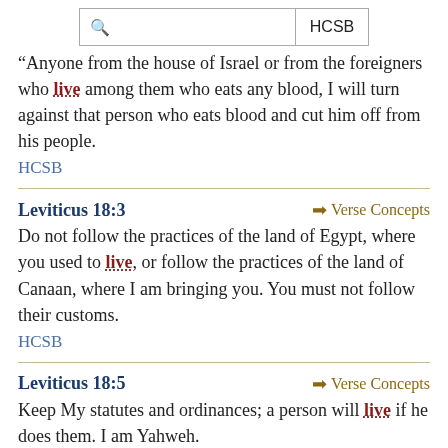[Figure (screenshot): Search bar with magnifying glass icon and HCSB label]
"Anyone from the house of Israel or from the foreigners who live among them who eats any blood, I will turn against that person who eats blood and cut him off from his people.
HCSB
Leviticus 18:3
➡ Verse Concepts
Do not follow the practices of the land of Egypt, where you used to live, or follow the practices of the land of Canaan, where I am bringing you. You must not follow their customs.
HCSB
Leviticus 18:5
➡ Verse Concepts
Keep My statutes and ordinances; a person will live if he does them. I am Yahweh.
HCSB